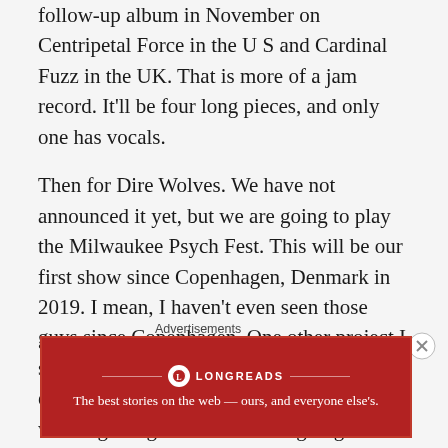follow-up album in November on Centripetal Force in the U S and Cardinal Fuzz in the UK. That is more of a jam record. It'll be four long pieces, and only one has vocals.
Then for Dire Wolves. We have not announced it yet, but we are going to play the Milwaukee Psych Fest. This will be our first show since Copenhagen, Denmark in 2019. I mean, I haven't even seen those guys since Copenhagen. One other project I should mention is that also during COVID, especially last year when we were still like washing our groceries and not going anywhere, I started a long-distance recording project with Ashley Paul. She's an experimental composer, and works with electronics
Advertisements
[Figure (other): Longreads advertisement banner with red background. Logo and tagline: 'The best stories on the web — ours, and everyone else's.']